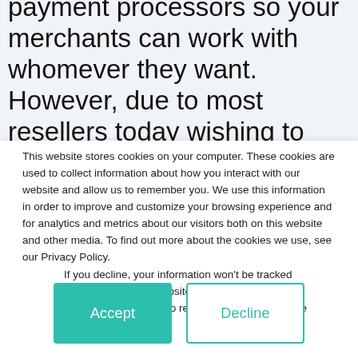payment processors so your merchants can work with whomever they want. However, due to most resellers today wishing to optimize their revenue streams and competitiveness, we do have preferred processors to give you a more sustainable business model
This website stores cookies on your computer. These cookies are used to collect information about how you interact with our website and allow us to remember you. We use this information in order to improve and customize your browsing experience and for analytics and metrics about our visitors both on this website and other media. To find out more about the cookies we use, see our Privacy Policy.
If you decline, your information won't be tracked when you visit this website. A single cookie will be used in your browser to remember your preference not to be tracked.